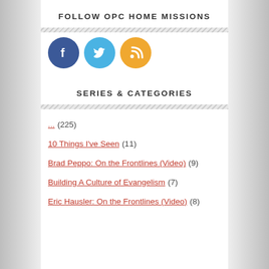FOLLOW OPC HOME MISSIONS
[Figure (illustration): Three social media icons: Facebook (blue circle with 'f'), Twitter (light blue circle with bird), RSS (orange circle with RSS symbol)]
SERIES & CATEGORIES
... (225)
10 Things I've Seen (11)
Brad Peppo: On the Frontlines (Video) (9)
Building A Culture of Evangelism (7)
Eric Hausler: On the Frontlines (Video) (8)